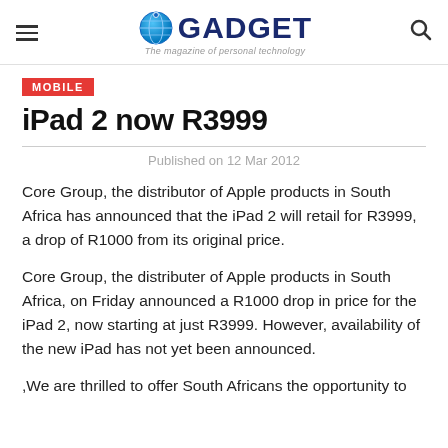GADGET — The magazine of personal technology
MOBILE
iPad 2 now R3999
Published on 12 Mar 2012
Core Group, the distributor of Apple products in South Africa has announced that the iPad 2 will retail for R3999, a drop of R1000 from its original price.
Core Group, the distributer of Apple products in South Africa, on Friday announced a R1000 drop in price for the iPad 2, now starting at just R3999. However, availability of the new iPad has not yet been announced.
,We are thrilled to offer South Africans the opportunity to